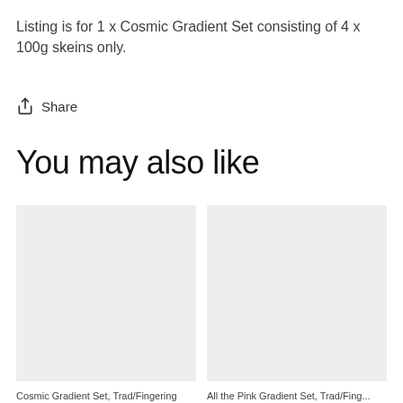Listing is for 1 x Cosmic Gradient Set consisting of 4 x 100g skeins only.
Share
You may also like
[Figure (photo): Product image placeholder (light grey rectangle) for first product]
[Figure (photo): Product image placeholder (light grey rectangle) for second product]
Cosmic Gradient Set, Trad/Fingering
All the Pink Gradient Set, Trad/Fing...